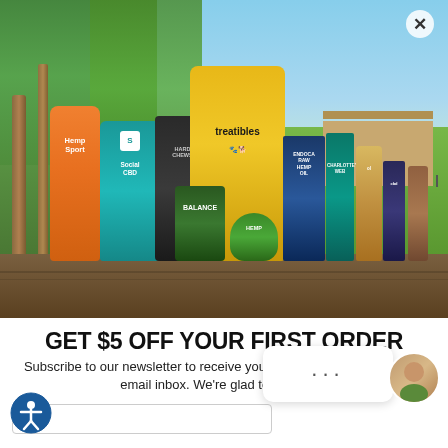[Figure (photo): Outdoor scene with various CBD and hemp products arranged on a wooden table, including Hemp Sport sunscreen tube, Social CBD packet, Treatibles pet treats bag, Balance container, Raw Hemp Oil box, Charlotte's Web product, and other CBD items. Background shows trees, grass, and a building.]
GET $5 OFF YOUR FIRST ORDER
Subscribe to our newsletter to receive your $5 off coupon sent to your email inbox. We're glad to know you
email